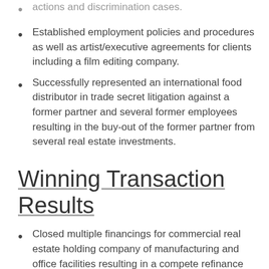actions and discrimination cases.
Established employment policies and procedures as well as artist/executive agreements for clients including a film editing company.
Successfully represented an international food distributor in trade secret litigation against a former partner and several former employees resulting in the buy-out of the former partner from several real estate investments.
Winning Transaction Results
Closed multiple financings for commercial real estate holding company of manufacturing and office facilities resulting in a compete refinance